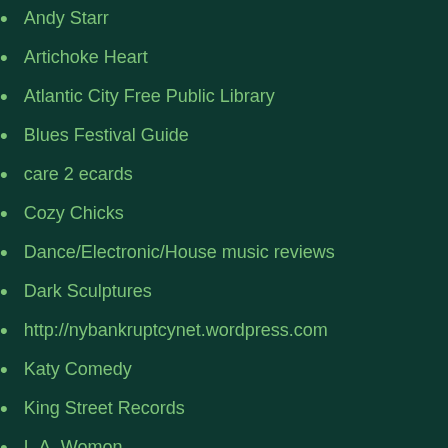Andy Starr
Artichoke Heart
Atlantic City Free Public Library
Blues Festival Guide
care 2 ecards
Cozy Chicks
Dance/Electronic/House music reviews
Dark Sculptures
http://nybankruptcynet.wordpress.com
Katy Comedy
King Street Records
L.A. Womon
Naked Law
Nervous Records Inc
Philanthopic Executives and reading material
Plinky
Podcast
Distance Love S…
About Achilliad…
Tune Wedgies - Your Mind?